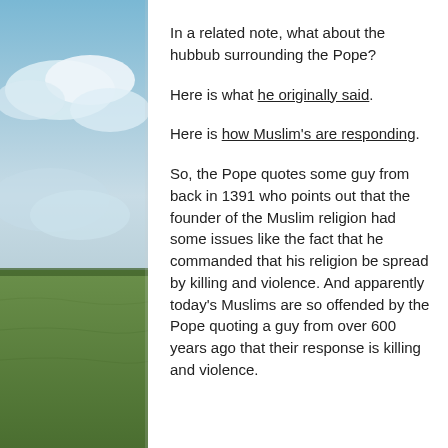[Figure (photo): Outdoor landscape background with sky, clouds, and green fields visible on the left side of the image]
In a related note, what about the hubbub surrounding the Pope?
Here is what he originally said.
Here is how Muslim's are responding.
So, the Pope quotes some guy from back in 1391 who points out that the founder of the Muslim religion had some issues like the fact that he commanded that his religion be spread by killing and violence. And apparently today's Muslims are so offended by the Pope quoting a guy from over 600 years ago that their response is killing and violence.